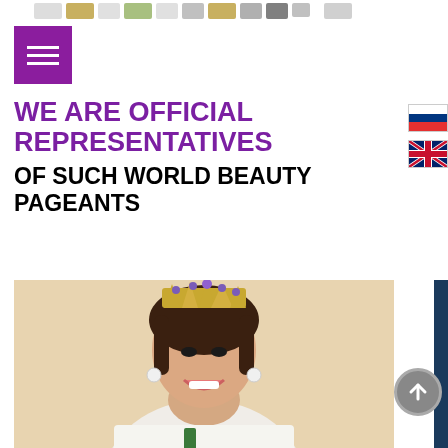[Figure (screenshot): Top navigation strip with small coin/stamp thumbnail images]
[Figure (logo): Purple square hamburger menu button with three white horizontal lines]
WE ARE OFFICIAL REPRESENTATIVES
OF SUCH WORLD BEAUTY PAGEANTS
[Figure (photo): Russian flag icon]
[Figure (photo): UK flag icon]
[Figure (photo): Young woman wearing a large ornate crown/tiara, smiling, wearing a white outfit — beauty pageant winner photo]